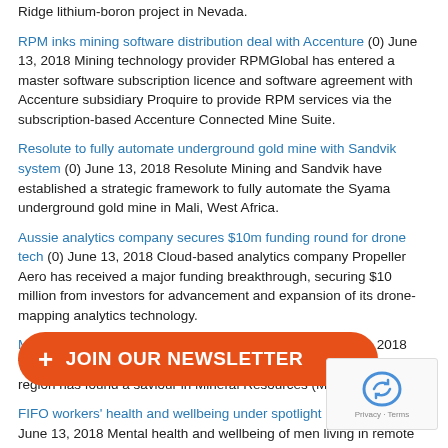Ridge lithium-boron project in Nevada.
RPM inks mining software distribution deal with Accenture (0) June 13, 2018 Mining technology provider RPMGlobal has entered a master software subscription licence and software agreement with Accenture subsidiary Proquire to provide RPM services via the subscription-based Accenture Connected Mine Suite.
Resolute to fully automate underground gold mine with Sandvik system (0) June 13, 2018 Resolute Mining and Sandvik have established a strategic framework to fully automate the Syama underground gold mine in Mali, West Africa.
Aussie analytics company secures $10m funding round for drone tech (0) June 13, 2018 Cloud-based analytics company Propeller Aero has received a major funding breakthrough, securing $10 million from investors for advancement and expansion of its drone-mapping analytics technology.
MinRes comes to the rescue of Koolyanobbing (0) June 13, 2018 The Koolyanobbing iron ore operation in Western Australia's Yilgarn region has found a saviour in Mineral Resources (MinRes).
FIFO workers' health and wellbeing under spotlight in Pilbara (0) June 13, 2018 Mental health and wellbeing of men living in remote Western Australian mining communities are being placed at the forefront in the Pilbara during Men's Health Week.
June 12, 2018 Jake...chief financial officer of...Tinto.